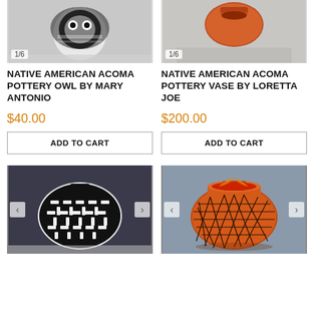[Figure (photo): Native American Acoma Pottery Owl with black and white geometric pattern on gray background, labeled 1/6]
NATIVE AMERICAN ACOMA POTTERY OWL BY MARY ANTONIO
$40.00
ADD TO CART
[Figure (photo): Native American Acoma Pottery Vase with orange and brown design on gray background, labeled 1/6]
NATIVE AMERICAN ACOMA POTTERY VASE BY LORETTA JOE
$200.00
ADD TO CART
[Figure (photo): Large Native American pottery jar with black and white basketweave pattern on dark background, with left and right navigation arrows]
[Figure (photo): Large Native American pottery with orange terracotta color, black geometric line design forming star/diamond patterns, on gray background, with navigation arrows]